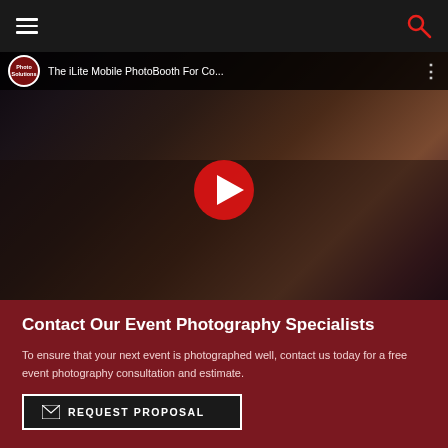[Figure (screenshot): Website navigation bar with hamburger menu icon on left and red search icon on right, dark background]
[Figure (screenshot): YouTube video thumbnail showing two women, one holding a photo booth device, with red play button overlay. Video title: 'The iLite Mobile PhotoBooth For Co...']
Contact Our Event Photography Specialists
To ensure that your next event is photographed well, contact us today for a free event photography consultation and estimate.
[Figure (screenshot): Dark button with envelope icon and text 'REQUEST PROPOSAL', white border]